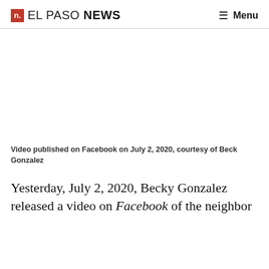n. EL PASO NEWS  ≡ Menu
[Figure (other): Blank white video embed area (Facebook video placeholder)]
Video published on Facebook on July 2, 2020, courtesy of Beck Gonzalez
Yesterday, July 2, 2020, Becky Gonzalez released a video on Facebook of the neighbor